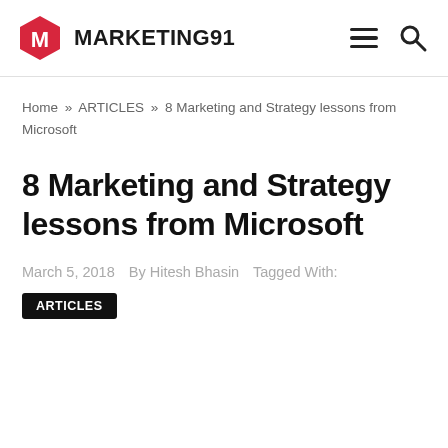MARKETING91
Home » ARTICLES » 8 Marketing and Strategy lessons from Microsoft
8 Marketing and Strategy lessons from Microsoft
March 5, 2018  By Hitesh Bhasin  Tagged With:
ARTICLES